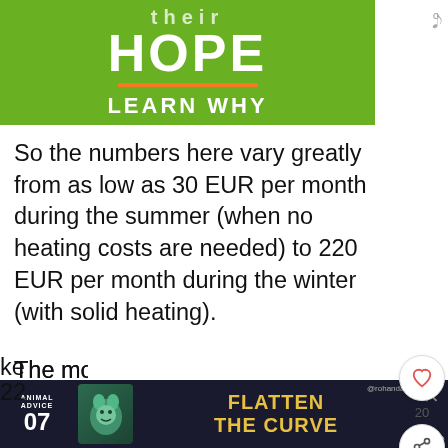[Figure (screenshot): Advertisement banner with green background showing partial text 'their HOPE' with orange underline and 'LEARN WHY' text in white]
So the numbers here vary greatly from as low as 30 EUR per month during the summer (when no heating costs are needed) to 220 EUR per month during the winter (with solid heating).
The most we have ever paid (2-bedroom apartment) here was close to 200 Euros (during a very cold winter month a few years ago), but we're usually paying around 100 each winter month and we
[Figure (screenshot): Bottom advertisement banner with dark background showing 'ANIMAL ADVICE 07' and 'FLATTEN THE CURVE' text with animal illustration]